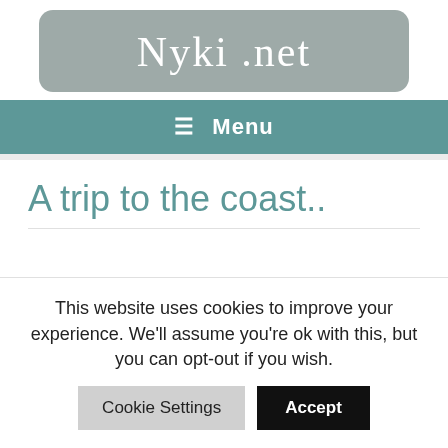[Figure (logo): Nyki.net website logo in cursive white text on a rounded grey rectangle background]
≡ Menu
A trip to the coast..
This website uses cookies to improve your experience. We'll assume you're ok with this, but you can opt-out if you wish.